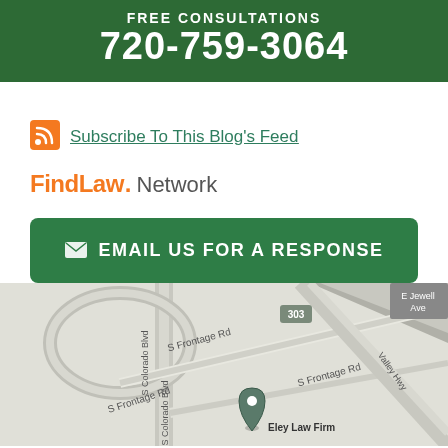Free Consultations
720-759-3064
Subscribe To This Blog's Feed
FindLaw. Network
EMAIL US FOR A RESPONSE
[Figure (map): Google Maps view showing location of Eley Law Firm near S Frontage Rd, S Colorado Blvd, Valley Hwy, and road 303 interchange in Colorado]